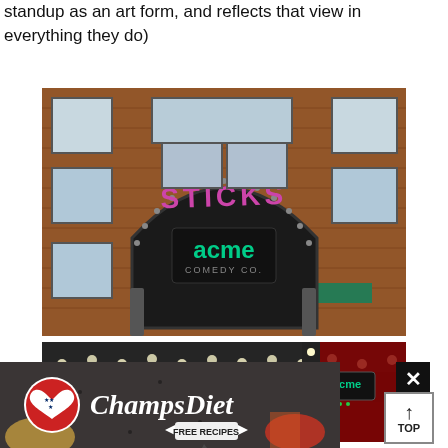standup as an art form, and reflects that view in everything they do)
[Figure (photo): Exterior of Acme Comedy Co., a brick building with a large semicircular black sign reading 'STICKS' above and 'acme COMEDY CO.' on the archway, with green awnings below]
[Figure (photo): Interior of Acme Comedy Co. showing a dark ceiling with string lights and stage area with red curtain and illuminated acme sign]
[Figure (other): Advertisement banner for ChampsDiet with American flag heart logo, script text 'ChampsDiet', arrow buttons and 'FREE RECIPES' text, food imagery in background]